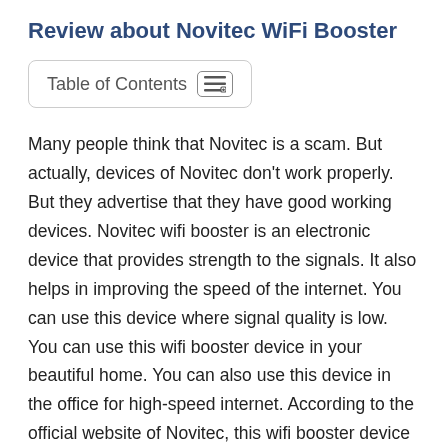Review about Novitec WiFi Booster
Table of Contents
Many people think that Novitec is a scam. But actually, devices of Novitec don't work properly. But they advertise that they have good working devices. Novitec wifi booster is an electronic device that provides strength to the signals. It also helps in improving the speed of the internet. You can use this device where signal quality is low. You can use this wifi booster device in your beautiful home. You can also use this device in the office for high-speed internet. According to the official website of Novitec, this wifi booster device increases internet speeds up to 10 times. You will